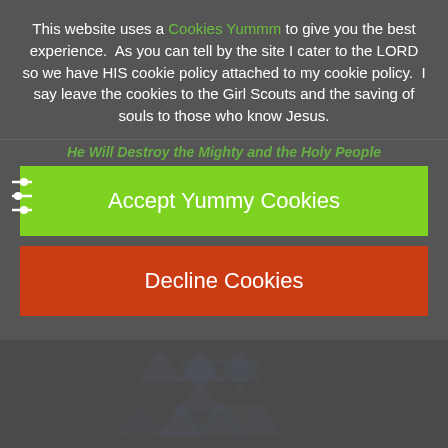This website uses a Cookies Yummm to give you the best experience.  As you can tell by the site I cater to the LORD so we have HIS cookie policy attached to my cookie policy.  I say leave the cookies to the Girl Scouts and the saving of souls to those who know Jesus.
He Will Destroy the Mighty and the Holy People
Accept Yummy Cookies
Decline Cookies
[Figure (illustration): Decorative background with repeating triangular/arrow symbols in a darker overlay pattern]